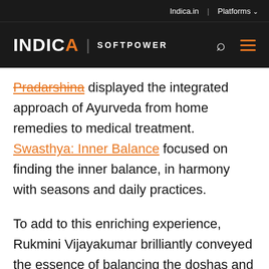Indica.in | Platforms
INDICA | SOFTPOWER
Pradarshina displayed the integrated approach of Ayurveda from home remedies to medical treatment. Swasthya: Inner Balance focused on finding the inner balance, in harmony with seasons and daily practices.
To add to this enriching experience, Rukmini Vijayakumar brilliantly conveyed the essence of balancing the doshas and its bearings on one's state of mind through her dance film. Shot amidst